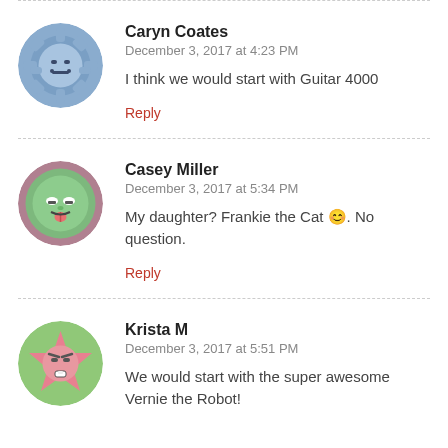Caryn Coates
December 3, 2017 at 4:23 PM
I think we would start with Guitar 4000
Reply
Casey Miller
December 3, 2017 at 5:34 PM
My daughter? Frankie the Cat 😊. No question.
Reply
Krista M
December 3, 2017 at 5:51 PM
We would start with the super awesome Vernie the Robot!